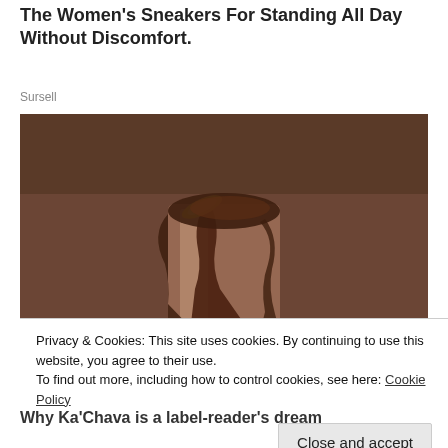The Women's Sneakers For Standing All Day Without Discomfort.
Sursell
[Figure (photo): Close-up photo of a chocolate smoothie or milkshake in a glass with chocolate dripping down the sides and a banana chip on the rim, against a dark brown background.]
Privacy & Cookies: This site uses cookies. By continuing to use this website, you agree to their use.
To find out more, including how to control cookies, see here: Cookie Policy
Close and accept
Why Ka'Chava is a label-reader's dream